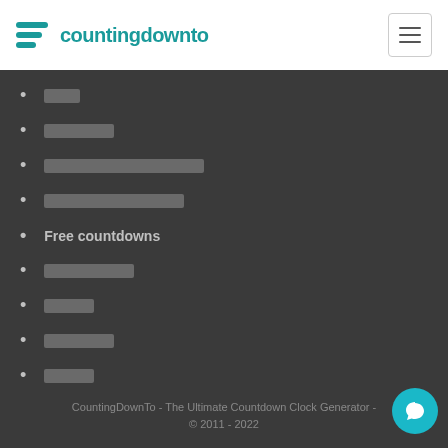countingdownto
[redacted]
[redacted]
[redacted]
[redacted]
Free countdowns
[redacted]
[redacted]
[redacted]
[redacted]
CountingDownTo - The Ultimate Countdown Clock Generator - © 2011 - 2022